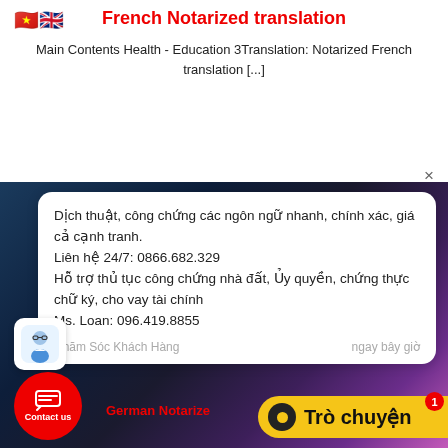French Notarized translation
Main Contents Health - Education 3Translation: Notarized French translation [...]
[Figure (screenshot): Screenshot of a Vietnamese translation service website showing a chat popup with text: Dịch thuật, công chứng các ngôn ngữ nhanh, chính xác, giá cả cạnh tranh. Liên hệ 24/7: 0866.682.329. Hỗ trợ thủ tục công chứng nhà đất, Ủy quyền, chứng thực chữ ký, cho vay tài chính Ms. Loan: 096.419.8855. With a chat agent label 'Chăm Sóc Khách Hàng' and time 'ngay bây giờ'. Below: German Notarized text, Contact us button (red circle), and Trò chuyện yellow button.]